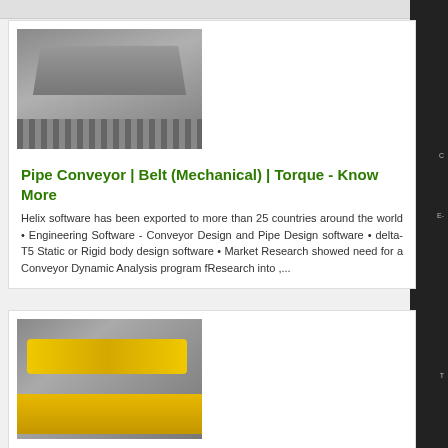[Figure (photo): Industrial steel conveyor/chute equipment in a warehouse setting, gray metallic structure]
Pipe Conveyor | Belt (Mechanical) | Torque - Know More
Helix software has been exported to more than 25 countries around the world • Engineering Software - Conveyor Design and Pipe Design software • delta-T5 Static or Rigid body design software • Market Research showed need for a Conveyor Dynamic Analysis program fResearch into ,...
[Figure (photo): Yellow industrial conveyor beam/equipment on a worksite]
Pipe Conveyor | Belt (Mechanical) | Torque - Know